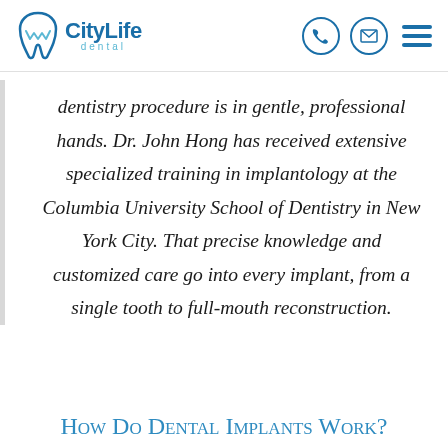[Figure (logo): CityLife Dental logo with tooth icon and teal/blue text]
dentistry procedure is in gentle, professional hands. Dr. John Hong has received extensive specialized training in implantology at the Columbia University School of Dentistry in New York City. That precise knowledge and customized care go into every implant, from a single tooth to full-mouth reconstruction.
How Do Dental Implants Work?